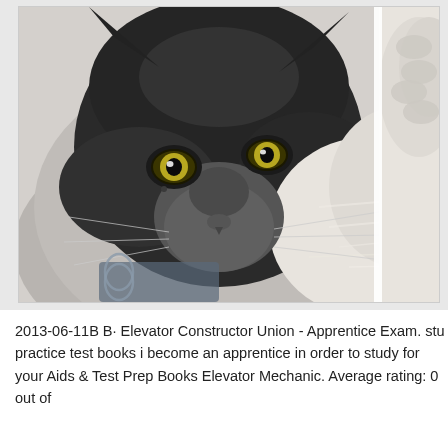[Figure (photo): Close-up photograph of a black cat's face with yellow-green eyes, looking slightly downward. The cat has a grey muzzle patch. To the right, a partial second image shows a blurry white/cream textured surface. The main image is framed with a light grey border.]
2013-06-11B B· Elevator Constructor Union - Apprentice Exam. stu practice test books i become an apprentice in order to study for your Aids & Test Prep Books Elevator Mechanic. Average rating: 0 out of